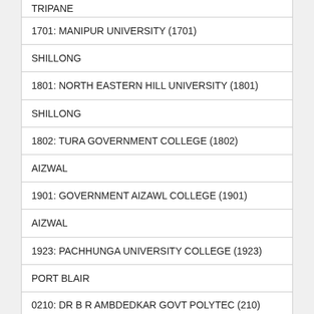TRIPANE
1701: MANIPUR UNIVERSITY (1701)
SHILLONG
1801: NORTH EASTERN HILL UNIVERSITY (1801)
SHILLONG
1802: TURA GOVERNMENT COLLEGE (1802)
AIZWAL
1901: GOVERNMENT AIZAWL COLLEGE (1901)
AIZWAL
1923: PACHHUNGA UNIVERSITY COLLEGE (1923)
PORT BLAIR
0210: DR B R AMBDEDKAR GOVT POLYTEC (210)